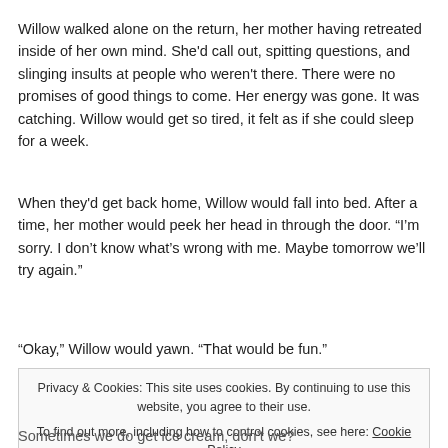Willow walked alone on the return, her mother having retreated inside of her own mind. She'd call out, spitting questions, and slinging insults at people who weren't there. There were no promises of good things to come. Her energy was gone. It was catching. Willow would get so tired, it felt as if she could sleep for a week.
When they'd get back home, Willow would fall into bed. After a time, her mother would peek her head in through the door. “I’m sorry. I don’t know what’s wrong with me. Maybe tomorrow we’ll try again.”
“Okay,” Willow would yawn. “That would be fun.”
Privacy & Cookies: This site uses cookies. By continuing to use this website, you agree to their use. To find out more, including how to control cookies, see here: Cookie Policy
Sometimes we do get ice cream, don’t we?